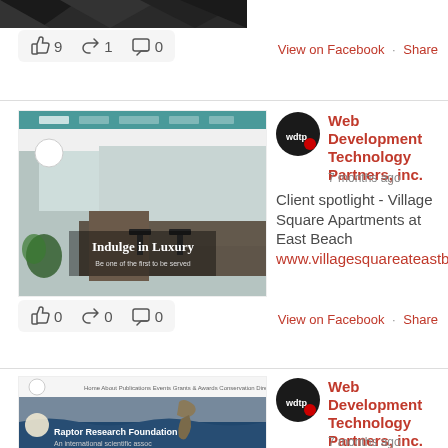[Figure (screenshot): Dark geometric triangle pattern image partially visible at top]
👍 9  ↪ 1  💬 0
View on Facebook · Share
[Figure (screenshot): Village Square Apartments at East Beach website screenshot showing luxury apartment kitchen interior with 'Indulge in Luxury' overlay text]
[Figure (photo): Web Development Technology Partners, inc. avatar/logo]
Web Development Technology Partners, inc.
7 months ago
Client spotlight - Village Square Apartments at East Beach www.villagesquareateastbeach.com/
👍 0  ↪ 0  💬 0
View on Facebook · Share
[Figure (screenshot): Raptor Research Foundation website screenshot showing raptor bird and blue wave design with text 'Raptor Research Foundation' and 'An international scientific assoc']
[Figure (photo): Web Development Technology Partners, inc. avatar/logo]
Web Development Technology Partners, inc.
7 months ago